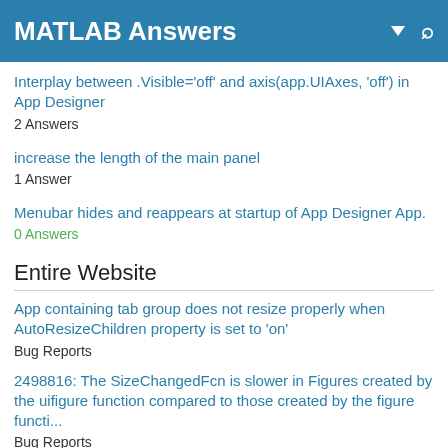MATLAB Answers
Interplay between .Visible='off' and axis(app.UIAxes, 'off') in App Designer
2 Answers
increase the length of the main panel
1 Answer
Menubar hides and reappears at startup of App Designer App.
0 Answers
Entire Website
App containing tab group does not resize properly when AutoResizeChildren property is set to 'on'
Bug Reports
2498816: The SizeChangedFcn is slower in Figures created by the uifigure function compared to those created by the figure functi...
Bug Reports
UI components inside uipanel objects disappear in GUIDE
Bug Reports
Categories